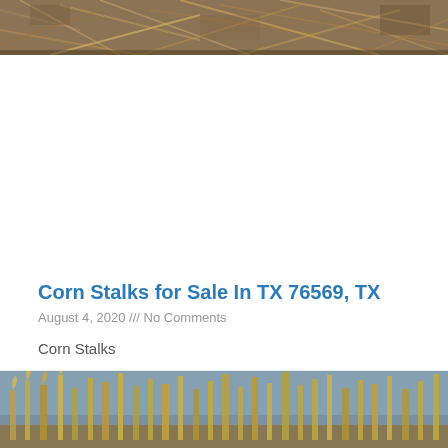[Figure (photo): Top portion of a photo showing dry corn stalks / hay with golden-brown texture, cropped at the top of the page]
Corn Stalks for Sale In TX 76569, TX
August 4, 2020 /// No Comments
Corn Stalks
Read More »
[Figure (photo): Bottom portion of a photo showing dry corn stalks / crops against a blue-grey sky, cropped at the bottom of the page]